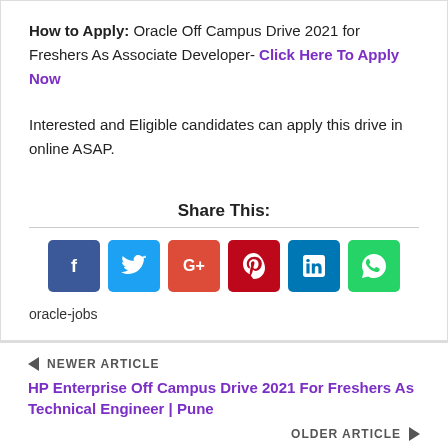How to Apply: Oracle Off Campus Drive 2021 for Freshers As Associate Developer- Click Here To Apply Now
Interested and Eligible candidates can apply this drive in online ASAP.
Share This:
[Figure (infographic): Social share buttons: Facebook, Twitter, Google+, Pinterest, LinkedIn, WhatsApp]
oracle-jobs
NEWER ARTICLE
HP Enterprise Off Campus Drive 2021 For Freshers As Technical Engineer | Pune
OLDER ARTICLE
Sharechat Off Campus Drive 2021 For Freshers As Engineering